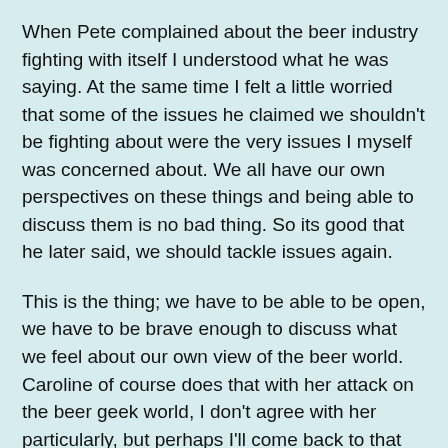When Pete complained about the beer industry fighting with itself I understood what he was saying. At the same time I felt a little worried that some of the issues he claimed we shouldn't be fighting about were the very issues I myself was concerned about. We all have our own perspectives on these things and being able to discuss them is no bad thing. So its good that he later said, we should tackle issues again.
This is the thing; we have to be able to be open, we have to be brave enough to discuss what we feel about our own view of the beer world. Caroline of course does that with her attack on the beer geek world, I don't agree with her particularly, but perhaps I'll come back to that later, as certainly there are some points to pick up. To me, and this is the key thing, it highlights a broadening of the beer industry in a most exciting and provocative way, that can only be a good thing, providing we can all learn to get along rather than feel the need to get the digs in.
BrewDog has had a go at SIBA¹ earlier this year. I'm with them all the way. It is perhaps something that comes out on